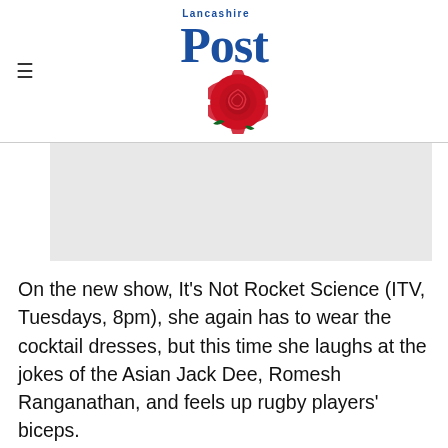Lancashire Post
[Figure (other): Grey advertisement placeholder block]
On the new show, It's Not Rocket Science (ITV, Tuesdays, 8pm), she again has to wear the cocktail dresses, but this time she laughs at the jokes of the Asian Jack Dee, Romesh Ranganathan, and feels up rugby players' biceps.
Hosted by Riley, Ranganathan and 'lapsed scientist' Ben Miller, the show was like Top Gear